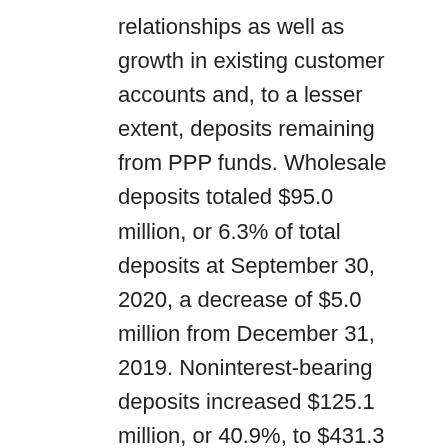relationships as well as growth in existing customer accounts and, to a lesser extent, deposits remaining from PPP funds. Wholesale deposits totaled $95.0 million, or 6.3% of total deposits at September 30, 2020, a decrease of $5.0 million from December 31, 2019. Noninterest-bearing deposits increased $125.1 million, or 40.9%, to $431.3 million at September 30, 2020 from $306.2 million at December 31, 2019, and represented 28.5% of total deposits,